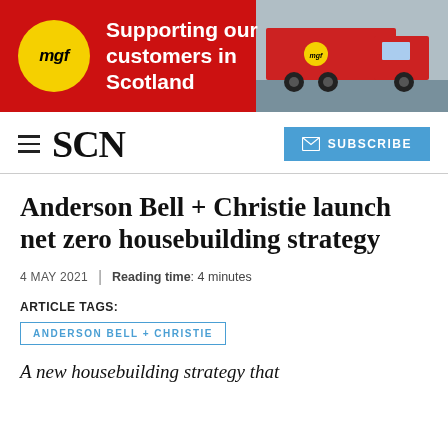[Figure (infographic): MGF advertisement banner with red background, MGF yellow circle logo on left, white text 'Supporting our customers in Scotland', and red truck photo on right]
SCN
Anderson Bell + Christie launch net zero housebuilding strategy
4 MAY 2021 | Reading time: 4 minutes
ARTICLE TAGS:
ANDERSON BELL + CHRISTIE
A new housebuilding strategy that